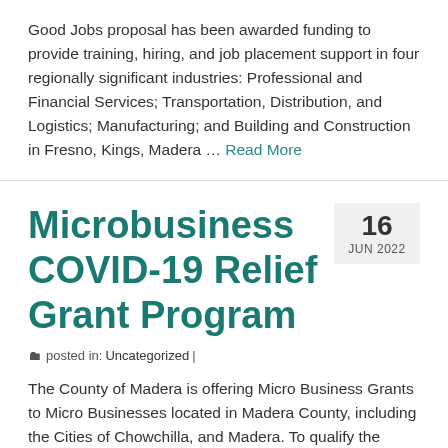Good Jobs proposal has been awarded funding to provide training, hiring, and job placement support in four regionally significant industries: Professional and Financial Services; Transportation, Distribution, and Logistics; Manufacturing; and Building and Construction in Fresno, Kings, Madera … Read More
Microbusiness COVID-19 Relief Grant Program
16 JUN 2022
posted in: Uncategorized |
The County of Madera is offering Micro Business Grants to Micro Businesses located in Madera County, including the Cities of Chowchilla, and Madera. To qualify the Micro